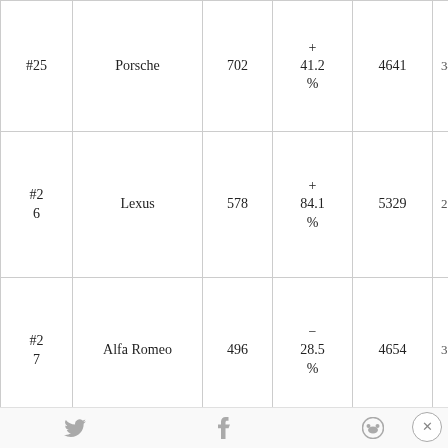| Rank | Brand | Sales | Change | Total | Extra |
| --- | --- | --- | --- | --- | --- |
| #25 | Porsche | 702 | + 41.2 % | 4641 | 34 |
| #26 | Lexus | 578 | + 84.1 % | 5329 | 20 |
| #27 | Alfa Romeo | 496 | - 28.5 % | 4654 | 35 |
| #28 | Chrysler | 422 | + 696 | 2028 |  |